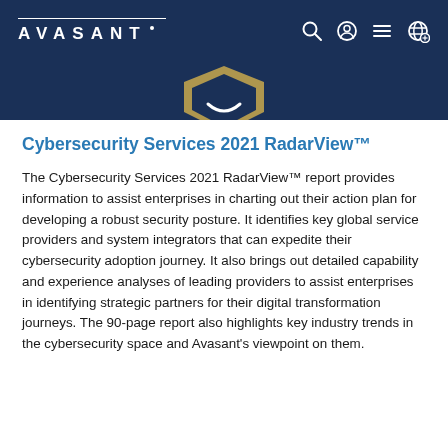AVASANT
[Figure (logo): Avasant shield/badge logo in navy and gold, partially visible at top center]
Cybersecurity Services 2021 RadarView™
The Cybersecurity Services 2021 RadarView™ report provides information to assist enterprises in charting out their action plan for developing a robust security posture. It identifies key global service providers and system integrators that can expedite their cybersecurity adoption journey. It also brings out detailed capability and experience analyses of leading providers to assist enterprises in identifying strategic partners for their digital transformation journeys. The 90-page report also highlights key industry trends in the cybersecurity space and Avasant's viewpoint on them.